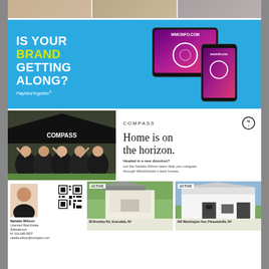[Figure (photo): Three horizontal photo strips at the top showing lifestyle scenes: person running, person with packages, person skateboarding]
[Figure (infographic): Blue banner advertisement: 'IS YOUR BRAND GETTING ALONG?' with yellow 'BRAND', tagline 'PlayNiceTogether' and device mockups showing wmcinfo.com]
[Figure (photo): Compass real estate booth photo showing women in black Compass shirts celebrating outdoors under a tent]
COMPASS
Home is on the horizon.
Headed in a new direction? Let the Natalia Wilson team help you navigate through Westchester's best homes.
[Figure (photo): Agent headshot and QR code for Natalia Wilson, Licensed Real Estate Salesperson, M: 914.649.0807, natalia.wilson@compass.com]
[Figure (photo): ACTIVE listing photo: home with green lawn at 28 Brookby Rd, Scarsdale, NY]
[Figure (photo): ACTIVE listing photo: modern white home at 300 Washington Ave, Pleasantville, NY]